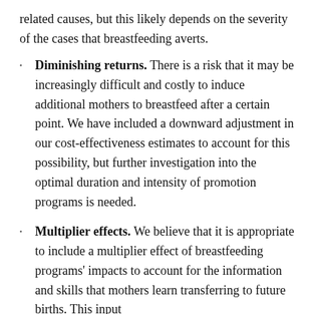related causes, but this likely depends on the severity of the cases that breastfeeding averts.
Diminishing returns. There is a risk that it may be increasingly difficult and costly to induce additional mothers to breastfeed after a certain point. We have included a downward adjustment in our cost-effectiveness estimates to account for this possibility, but further investigation into the optimal duration and intensity of promotion programs is needed.
Multiplier effects. We believe that it is appropriate to include a multiplier effect of breastfeeding programs' impacts to account for the information and skills that mothers learn transferring to future births. This input